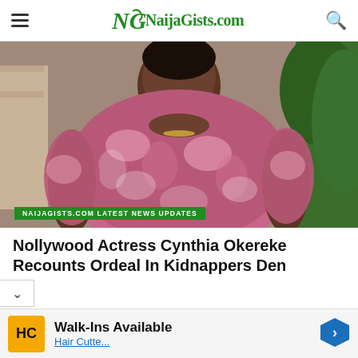NaijaGists.com
[Figure (photo): Photo of Nollywood actress Cynthia Okereke wearing a pink and white patterned dress, visible from the shoulders up, standing outdoors near a building and greenery.]
NAIJAGISTS.COM LATEST NEWS UPDATES
Nollywood Actress Cynthia Okereke Recounts Ordeal In Kidnappers Den
Walk-Ins Available